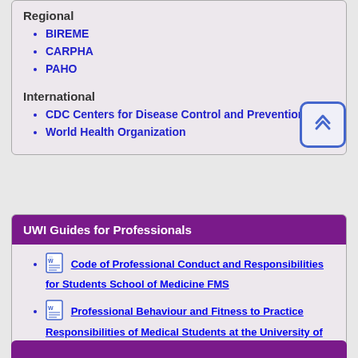Regional
BIREME
CARPHA
PAHO
International
CDC Centers for Disease Control and Prevention
World Health Organization
UWI Guides for Professionals
Code of Professional Conduct and Responsibilities for Students School of Medicine FMS
Professional Behaviour and Fitness to Practice Responsibilities of Medical Students at the University of the West Indies (UWI)